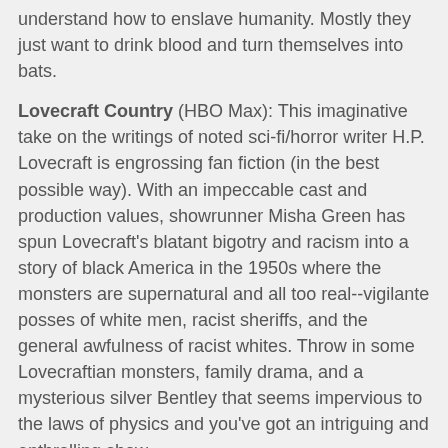understand how to enslave humanity. Mostly they just want to drink blood and turn themselves into bats.
Lovecraft Country (HBO Max): This imaginative take on the writings of noted sci-fi/horror writer H.P. Lovecraft is engrossing fan fiction (in the best possible way). With an impeccable cast and production values, showrunner Misha Green has spun Lovecraft's blatant bigotry and racism into a story of black America in the 1950s where the monsters are supernatural and all too real--vigilante posses of white men, racist sheriffs, and the general awfulness of racist whites. Throw in some Lovecraftian monsters, family drama, and a mysterious silver Bentley that seems impervious to the laws of physics and you've got an intriguing and enthralling show.
[Figure (screenshot): A dark video player showing 'This video is private' message with a warning icon circle.]